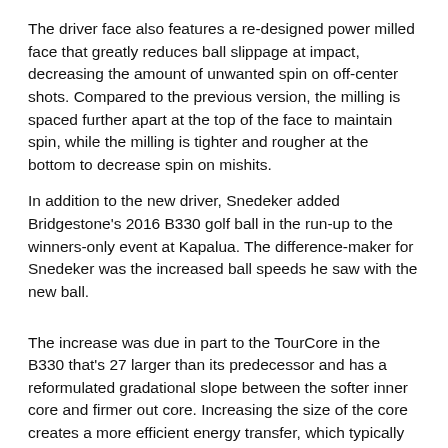The driver face also features a re-designed power milled face that greatly reduces ball slippage at impact, decreasing the amount of unwanted spin on off-center shots. Compared to the previous version, the milling is spaced further apart at the top of the face to maintain spin, while the milling is tighter and rougher at the bottom to decrease spin on mishits.
In addition to the new driver, Snedeker added Bridgestone's 2016 B330 golf ball in the run-up to the winners-only event at Kapalua. The difference-maker for Snedeker was the increased ball speeds he saw with the new ball.
The increase was due in part to the TourCore in the B330 that's 27 larger than its predecessor and has a reformulated gradational slope between the softer inner core and firmer out core. Increasing the size of the core creates a more efficient energy transfer, which typically translates to faster ball speeds.
Here's a look at the rest of the equipment in Snedeker's bag.
Driver: Bridgestone JGR (Fujikura Speeder Evolution 661 X shaft),